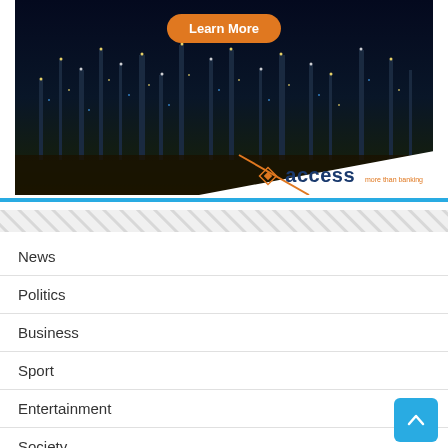[Figure (illustration): Access Bank advertisement banner with night city skyline background, 'Learn More' orange button at top center, and Access Bank logo with orange diamond icon, 'access' text, 'more than banking' tagline, and orange diagonal line in white chevron at bottom right.]
News
Politics
Business
Sport
Entertainment
Society
Investigation
World News
About